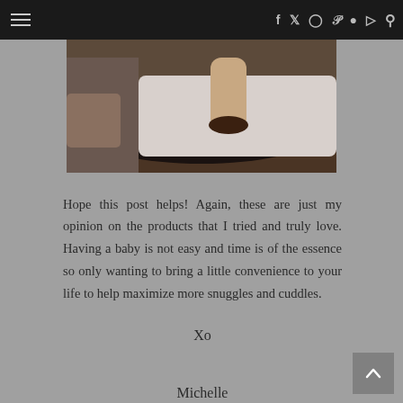Navigation bar with hamburger menu and social icons (f, Twitter, Instagram, Pinterest, Spotify, RSS, search)
[Figure (photo): Photo of a person lying on a bed, legs visible, dark fur rug on wooden floor, white bedding]
Hope this post helps! Again, these are just my opinion on the products that I tried and truly love. Having a baby is not easy and time is of the essence so only wanting to bring a little convenience to your life to help maximize more snuggles and cuddles.
Xo

Michelle